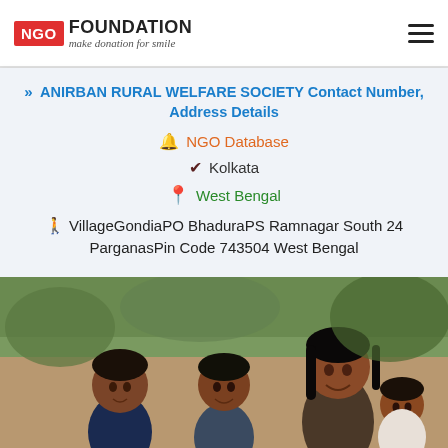NGO FOUNDATION - make donation for smile
ANIRBAN RURAL WELFARE SOCIETY Contact Number, Address Details
NGO Database
Kolkata
West Bengal
VillageGondiaPO BhaduraPS Ramnagar South 24 ParganasPin Code 743504 West Bengal
[Figure (photo): A smiling woman with three young children outdoors, likely in India, with green foliage in the background.]